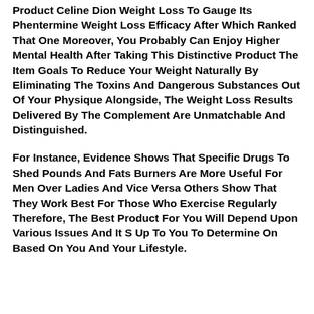Product Celine Dion Weight Loss To Gauge Its Phentermine Weight Loss Efficacy After Which Ranked That One Moreover, You Probably Can Enjoy Higher Mental Health After Taking This Distinctive Product The Item Goals To Reduce Your Weight Naturally By Eliminating The Toxins And Dangerous Substances Out Of Your Physique Alongside, The Weight Loss Results Delivered By The Complement Are Unmatchable And Distinguished.
For Instance, Evidence Shows That Specific Drugs To Shed Pounds And Fats Burners Are More Useful For Men Over Ladies And Vice Versa Others Show That They Work Best For Those Who Exercise Regularly Therefore, The Best Product For You Will Depend Upon Various Issues And It S Up To You To Determine On Based On You And Your Lifestyle.